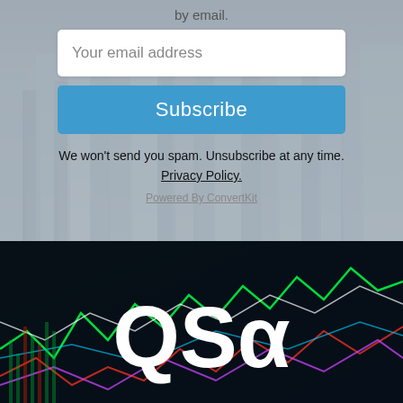by email.
Your email address
Subscribe
We won't send you spam. Unsubscribe at any time.
Privacy Policy.
Powered By ConvertKit
[Figure (logo): QSα logo on a dark background with colorful stock chart lines (green, red, white, purple). Bold white text reads 'QSα' in large sans-serif font over a financial data visualization.]